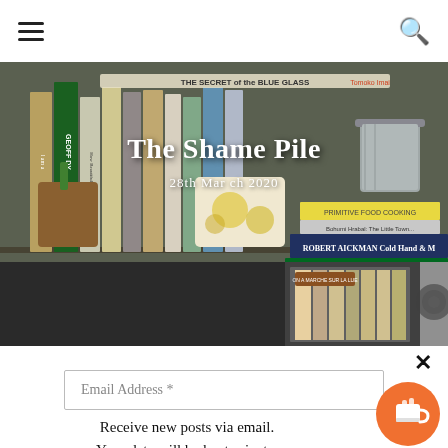≡ (hamburger menu) | 🔍 (search)
[Figure (photo): Bookshelf hero image showing book spines including 'The Secret of the Blue Glass', 'Geoff Dyer', 'Robert Aickman Cold Hand', 'Old Baggage', potted plants, a metal bucket, and various other books. Below is a second shelf row with records and decorative items.]
The Shame Pile
28th March 2020
✕
Email Address *
Receive new posts via email.
Your data will be kept private.
SUBMIT
[Figure (illustration): Orange circular button with coffee cup icon (Buy Me a Coffee widget)]